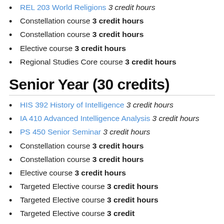REL 203 World Religions 3 credit hours
Constellation course 3 credit hours
Constellation course 3 credit hours
Elective course 3 credit hours
Regional Studies Core course 3 credit hours
Senior Year (30 credits)
HIS 392 History of Intelligence 3 credit hours
IA 410 Advanced Intelligence Analysis 3 credit hours
PS 450 Senior Seminar 3 credit hours
Constellation course 3 credit hours
Constellation course 3 credit hours
Elective course 3 credit hours
Targeted Elective course 3 credit hours
Targeted Elective course 3 credit hours
Targeted Elective course 3 credit hours